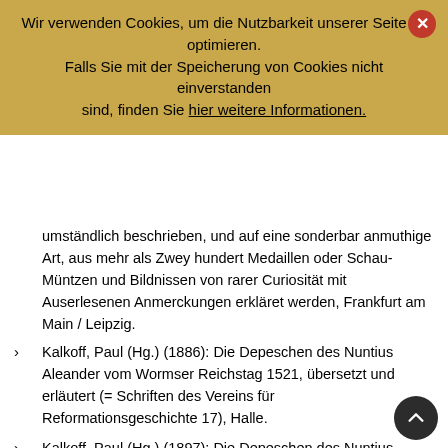Wir verwenden Cookies, um die Nutzbarkeit unserer Seite zu optimieren. Falls Sie mit der Speicherung von Cookies nicht einverstanden sind, finden Sie hier weitere Informationen.
umständlich beschrieben, und auf eine sonderbar anmuthige Art, aus mehr als Zwey hundert Medaillen oder Schau-Müntzen und Bildnissen von rarer Curiosität mit Auserlesenen Anmerckungen erkläret werden, Frankfurt am Main / Leipzig.
Kalkoff, Paul (Hg.) (1886): Die Depeschen des Nuntius Aleander vom Wormser Reichstag 1521, übersetzt und erläutert (= Schriften des Vereins für Reformationsgeschichte 17), Halle.
Kalkoff, Paul (Hg.) (1897): Die Depeschen des Nuntius Aleander vom Wormser Reichstag 1521, übersetzt und erläutert, 2. völlig umgearb. und erg. Aufl., Halle.
Kalkoff, Paul (Hg.) (1898): Briefe, Depeschen und Berichte über Luther vom Wormser Reichstag 1521, Halle.
Listenius, Nicolaus (1533): RVDIMENTA || MVSICAE || GRATIAM STVDIOSAE IVE || VENTVTIS DILIGEN- || TER